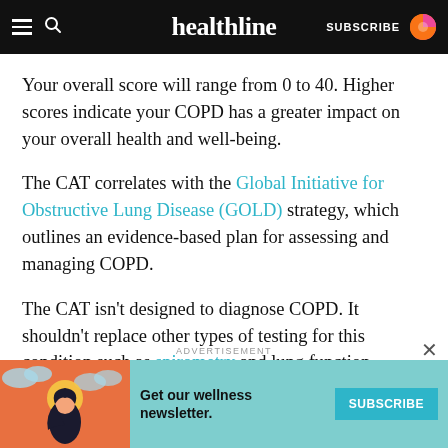healthline | SUBSCRIBE
Your overall score will range from 0 to 40. Higher scores indicate your COPD has a greater impact on your overall health and well-being.
The CAT correlates with the Global Initiative for Obstructive Lung Disease (GOLD) strategy, which outlines an evidence-based plan for assessing and managing COPD.
The CAT isn't designed to diagnose COPD. It shouldn't replace other types of testing for this condition such as spirometry and lung function testing.
[Figure (infographic): Advertisement banner with teal background showing a woman illustration on orange background with text 'Get our wellness newsletter.' and a teal SUBSCRIBE button]